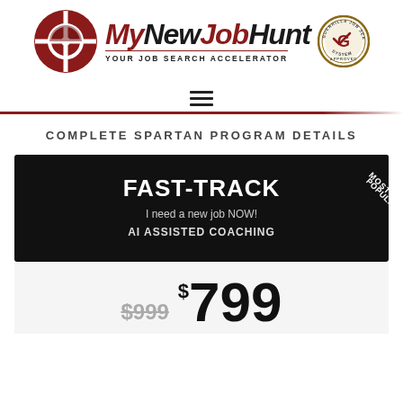[Figure (logo): MyNewJobHunt logo with red crosshair circle icon, brand name in red and black italic text, tagline 'YOUR JOB SEARCH ACCELERATOR', and Guerrilla Job Search System Approved badge]
[Figure (other): Hamburger menu icon with three horizontal lines]
COMPLETE SPARTAN PROGRAM DETAILS
[Figure (infographic): Black card with white bold text 'FAST-TRACK', subtitle 'I need a new job NOW!', sub-subtitle 'AI ASSISTED COACHING', and 'MOST POPULAR' diagonal banner in top right corner]
$999  $799